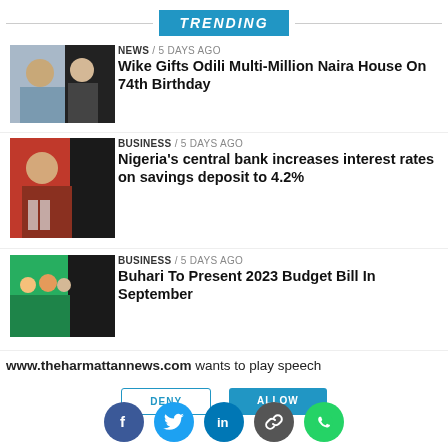TRENDING
[Figure (photo): Photo of two men at an event]
NEWS / 5 days ago
Wike Gifts Odili Multi-Million Naira House On 74th Birthday
[Figure (photo): Photo of a man speaking at a podium with microphones]
BUSINESS / 5 days ago
Nigeria's central bank increases interest rates on savings deposit to 4.2%
[Figure (photo): Photo of a crowd of people in official attire]
BUSINESS / 5 days ago
Buhari To Present 2023 Budget Bill In September
www.theharmattannews.com wants to play speech